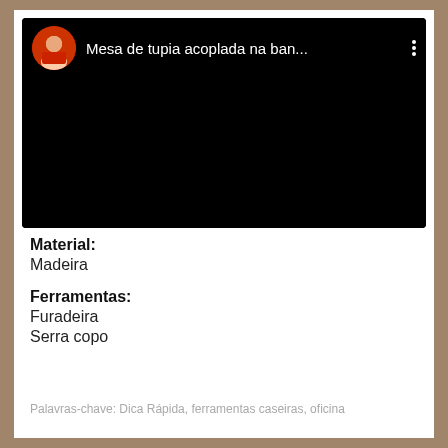[Figure (screenshot): YouTube video thumbnail screenshot showing a dark/black video player with a circular avatar of a man in top-left and title 'Mesa de tupia acoplada na ban...' in white text on black background, with three-dot menu icon on the right.]
Material:
Madeira
Ferramentas:
Furadeira
Serra copo
Palavras-chave: Dica Rápida, ferramentas caseiras, oficina